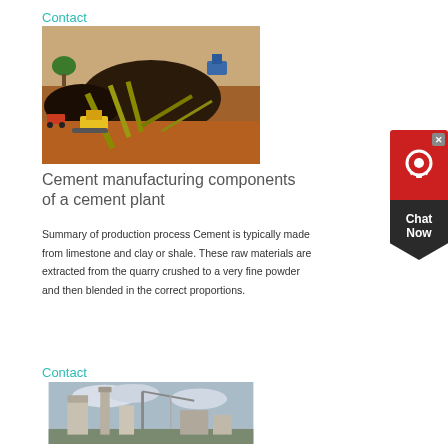Contact
[Figure (photo): Aerial view of a mining/quarry operation with excavators, conveyor belts, and large mounds of crushed material on red/brown earth]
Cement manufacturing components of a cement plant
Summary of production process Cement is typically made from limestone and clay or shale. These raw materials are extracted from the quarry crushed to a very fine powder and then blended in the correct proportions.
Contact
[Figure (photo): Cement plant with tall silos and cranes under a cloudy sky]